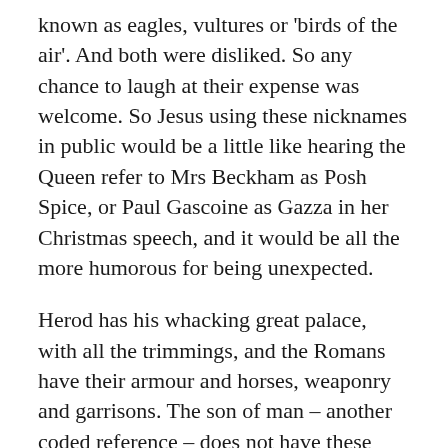known as eagles, vultures or 'birds of the air'. And both were disliked. So any chance to laugh at their expense was welcome. So Jesus using these nicknames in public would be a little like hearing the Queen refer to Mrs Beckham as Posh Spice, or Paul Gascoine as Gazza in her Christmas speech, and it would be all the more humorous for being unexpected.
Herod has his whacking great palace, with all the trimmings, and the Romans have their armour and horses, weaponry and garrisons. The son of man – another coded reference – does not have these things. He may be a powerful leader but he does not appear that way. The 'son of man' is a reference to some verses in the book of Daniel (chapter 7 verses 13 & 14), describing a figure of justice who will come from heaven to settle matters. The folks would have known that well – they were looking, waiting, praying desperately for this son of man to turn up and